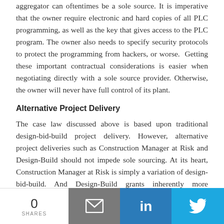aggregator can oftentimes be a sole source. It is imperative that the owner require electronic and hard copies of all PLC programming, as well as the key that gives access to the PLC program. The owner also needs to specify security protocols to protect the programming from hackers, or worse.  Getting these important contractual considerations is easier when negotiating directly with a sole source provider. Otherwise, the owner will never have full control of its plant.
Alternative Project Delivery
The case law discussed above is based upon traditional design-bid-build project delivery. However, alternative project deliveries such as Construction Manager at Risk and Design-Build should not impede sole sourcing. At its heart, Construction Manager at Risk is simply a variation of design-bid-build. And Design-Build grants inherently more discretion to the design-builder from the start, often focusing more on achieving performance standards than complying with Owner-prescribed technical specifications.
Conclusion
0 SHARES | Email | LinkedIn | Twitter